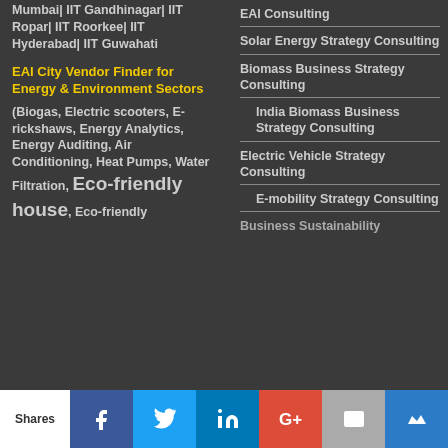Mumbai| IIT Gandhinagar| IIT Ropar| IIT Roorkee| IIT Hyderabad| IIT Guwahati
EAI City Vendor Finder for Energy & Environment Sectors
(Biogas, Electric scooters, E-rickshaws, Energy Analytics, Energy Auditing, Air Conditioning, Heat Pumps, Water Filtration, Eco-friendly house, Eco-friendly
EAI Consulting
Solar Energy Strategy Consulting
Biomass Business Strategy Consulting
India Biomass Business Strategy Consulting
Electric Vehicle Strategy Consulting
E-mobility Strategy Consulting
Business Sustainability
Shares | Facebook | Twitter | LinkedIn | Google+ | Email | Bookmark